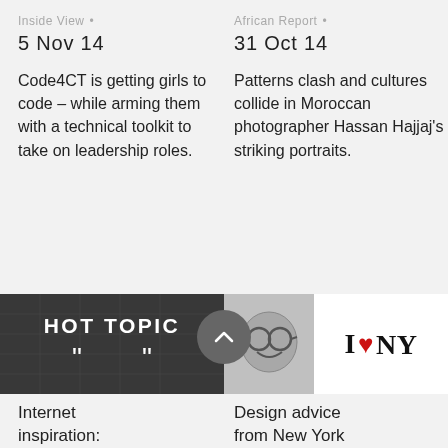Inside View • 5 Nov 14
Code4CT is getting girls to code – while arming them with a technical toolkit to take on leadership roles.
African Report • 31 Oct 14
Patterns clash and cultures collide in Moroccan photographer Hassan Hajjaj's striking portraits.
[Figure (photo): Hot Topic image with large quotation marks on dark background, labelled HOT TOPIC]
Internet inspiration:
[Figure (illustration): Man with glasses smiling next to I Love NY logo with red heart]
Design advice from New York